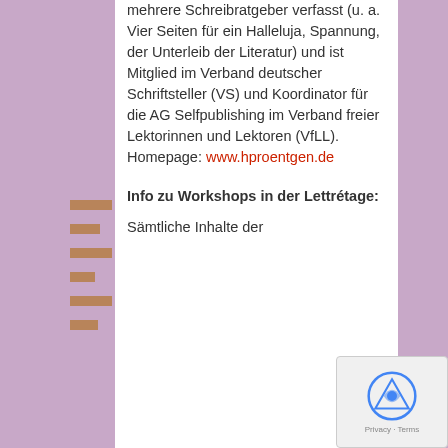[Figure (photo): Background photo of a stage or gallery space with purple/pink lighting and wooden shelf-like structures on the left side. A sculptural figure is visible at the lower left.]
mehrere Schreibratgeber verfasst (u. a. Vier Seiten für ein Halleluja, Spannung, der Unterleib der Literatur) und ist Mitglied im Verband deutscher Schriftsteller (VS) und Koordinator für die AG Selfpublishing im Verband freier Lektorinnen und Lektoren (VfLL). Homepage: www.hproentgen.de
Info zu Workshops in der Lettrétage:
Sämtliche Inhalte der